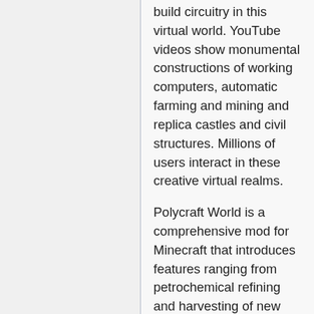build circuitry in this virtual world. YouTube videos show monumental constructions of working computers, automatic farming and mining and replica castles and civil structures. Millions of users interact in these creative virtual realms.
Polycraft World is a comprehensive mod for Minecraft that introduces features ranging from petrochemical refining and harvesting of new ore types to the construction of polymers, plastics and many specialty items based on the new additions. Enterprising players can build tree taps and extract natural rubber from trees to build rubber blocks, pogo sticks and more. Adventurers can find above ground oilfields and mine custom